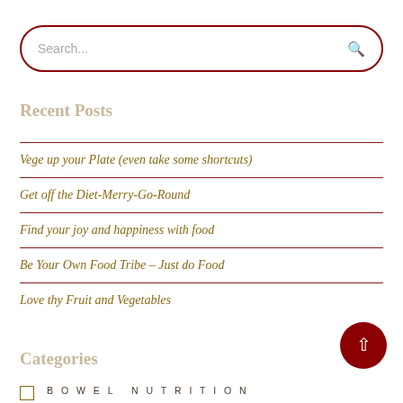Search...
Recent Posts
Vege up your Plate (even take some shortcuts)
Get off the Diet-Merry-Go-Round
Find your joy and happiness with food
Be Your Own Food Tribe – Just do Food
Love thy Fruit and Vegetables
Categories
BOWEL NUTRITION